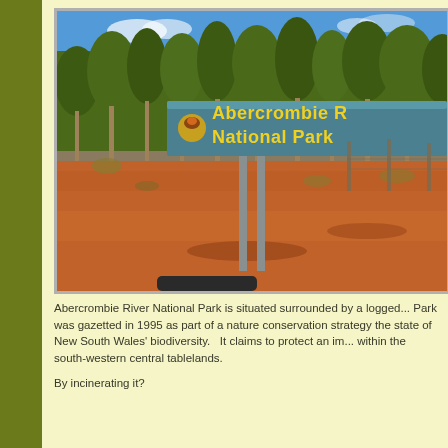[Figure (photo): Photograph of the entrance sign to Abercrombie River National Park. The sign is teal/blue-green with yellow text reading 'Abercrombie R... National Park'. The sign stands on metal posts in red/orange dirt with sparse dry vegetation. In the background are eucalyptus trees under a blue sky.]
Abercrombie River National Park is situated surrounded by a logged... Park was gazetted in 1995 as part of a nature conservation strategy the state of New South Wales' biodiversity.   It claims to protect an im... within the south-western central tablelands.
By incinerating it?